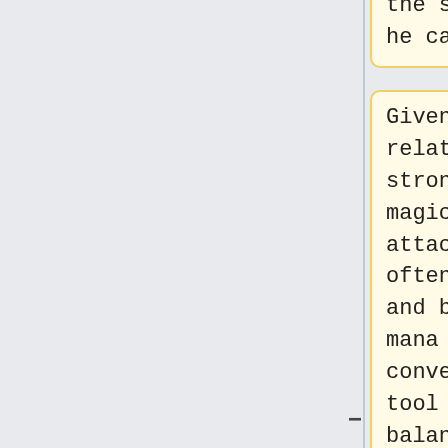the spell he can cast.
the spell he can cast.
Given how relatively strong magic attacks often are and become, mana is a convenient tool to balance magic for combat.
Given how relatively strong magic attacks often are and become, mana is a convenient tool to balance magic for [[combat]].
Other mechanisms exist, e.g. more
Other mechanisms exist, e.g. more